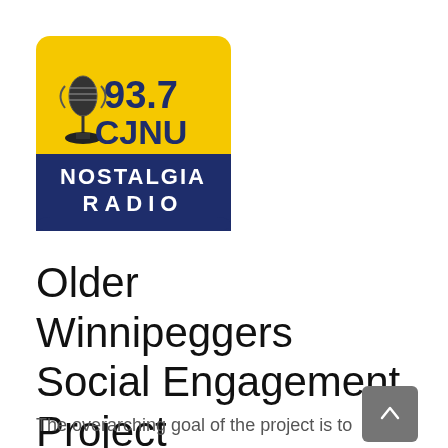[Figure (logo): 93.7 CJNU Nostalgia Radio logo — yellow and dark navy blue square badge with a vintage microphone icon, '93.7 CJNU' in bold navy text on yellow background, 'NOSTALGIA RADIO' in white text on navy blue banner]
Older Winnipeggers Social Engagement Project
The overarching goal of the project is to